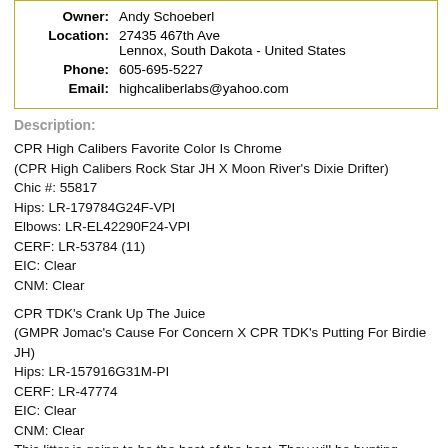| Owner: | Andy Schoeberl |
| Location: | 27435 467th Ave
Lennox, South Dakota - United States |
| Phone: | 605-695-5227 |
| Email: | highcaliberlabs@yahoo.com |
Description:
CPR High Calibers Favorite Color Is Chrome
(CPR High Calibers Rock Star JH X Moon River's Dixie Drifter)
Chic #: 55817
Hips: LR-179784G24F-VPI
Elbows: LR-EL42290F24-VPI
CERF: LR-53784 (11)
EIC: Clear
CNM: Clear
CPR TDK's Crank Up The Juice
(GMPR Jomac's Cause For Concern X CPR TDK's Putting For Birdie JH)
Hips: LR-157916G31M-PI
CERF: LR-47774
EIC: Clear
CNM: Clear
This litter is going to be the best of the best. They will be hunting machines. Both Juice and Chrome are both Certified Hunting Pointing Retrievers with the APLA. Puppies are EIC clear and CNM Clear!!
Juice has produced CPR dogs along with many successful hunting dogs JH which is owned by myself, therefore knowing what she has produced stranger to the upland field! Juice is a proven producer of hard hunting